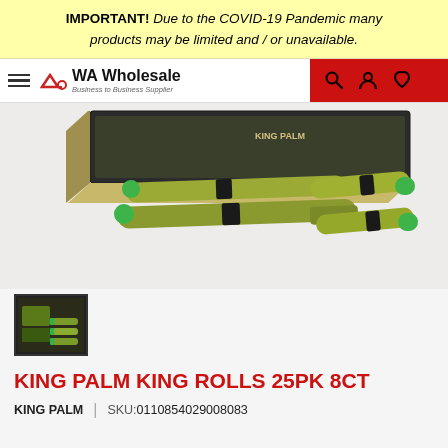IMPORTANT! Due to the COVID-19 Pandemic many products may be limited and / or unavailable.
[Figure (screenshot): VA Wholesale website navigation bar with hamburger menu, logo, and red icon bar with search, user, and heart icons]
[Figure (photo): King Palm King Rolls product photo showing four rolled palm leaf pre-rolls with green tips and a black display box]
[Figure (photo): Thumbnail image of King Palm King Rolls product with display box]
KING PALM KING ROLLS 25PK 8CT
KING PALM  |  SKU: 0110854029008083